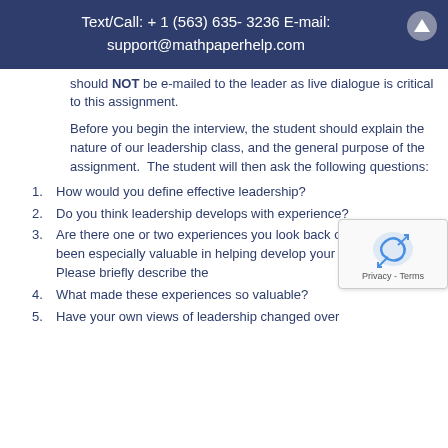Text/Call: + 1 (563) 635- 3236 E-mail: support@mathpaperhelp.com
should NOT be e-mailed to the leader as live dialogue is critical to this assignment.
Before you begin the interview, the student should explain the nature of our leadership class, and the general purpose of the assignment.  The student will then ask the following questions:
How would you define effective leadership?
Do you think leadership develops with experience?
Are there one or two experiences you look back on as having been especially valuable in helping develop your own leadership? Please briefly describe the
What made these experiences so valuable?
Have your own views of leadership changed over